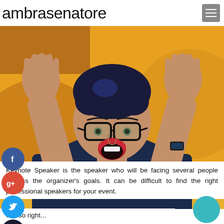ambrasenatore
[Figure (photo): A woman with short blue-black hair wearing large round glasses, a dark navy top with an orange flower brooch, hands raised up beside her face with an excited/surprised expression. Background is a colorful mural with orange and yellow shapes.]
Keynote Speaker is the speaker who will be facing several people discuss the organizer's goals. It can be difficult to find the right professional speakers for your event.
It is so right...